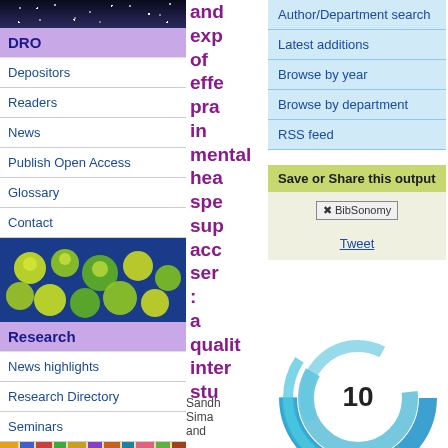[Figure (photo): Night sky with stars]
DRO
Depositors
Readers
News
Publish Open Access
Glossary
Contact
[Figure (photo): Microscope image of green and yellow cells on blue background]
Research
News highlights
Research Directory
Seminars
[Figure (photo): Colorful books on shelves]
and exp of effe pra in mental hea spe sup acc ser : a qualit inter stu
Author/Department search
Latest additions
Browse by year
Browse by department
RSS feed
Save or Share this output
[Figure (other): BibSonomy button and Tweet link for sharing]
[Figure (other): Altmetric donut chart showing score of 10]
Sandh Sima and